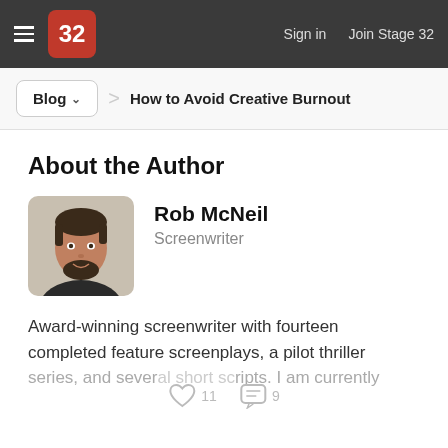Stage 32 — Sign in   Join Stage 32
Blog  ›  How to Avoid Creative Burnout
About the Author
[Figure (photo): Headshot of Rob McNeil, a man with dark hair and beard, smiling, wearing a dark jacket]
Rob McNeil
Screenwriter
Award-winning screenwriter with fourteen completed feature screenplays, a pilot thriller series, and several short scripts. I am currently